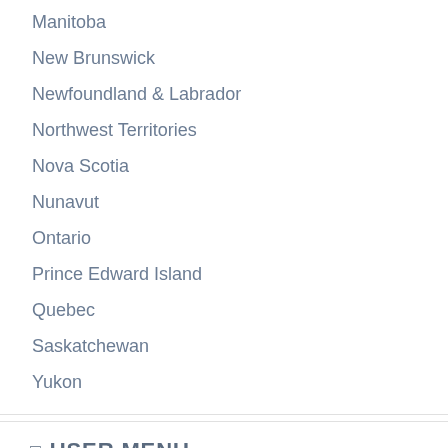Manitoba
New Brunswick
Newfoundland & Labrador
Northwest Territories
Nova Scotia
Nunavut
Ontario
Prince Edward Island
Quebec
Saskatchewan
Yukon
USER MENU
Recently Added